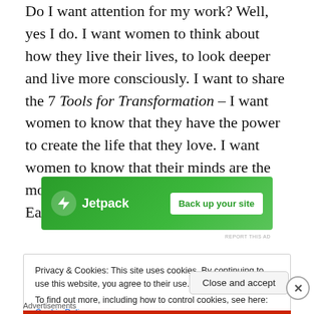Do I want attention for my work? Well, yes I do. I want women to think about how they live their lives, to look deeper and live more consciously. I want to share the 7 Tools for Transformation – I want women to know that they have the power to create the life that they love. I want women to know that their minds are the most beautiful and powerful things on Earth.
[Figure (other): Jetpack advertisement banner with green background, Jetpack logo with lightning bolt icon, and 'Back up your site' button]
REPORT THIS AD
Privacy & Cookies: This site uses cookies. By continuing to use this website, you agree to their use.
To find out more, including how to control cookies, see here: Cookie Policy
Close and accept
Advertisements